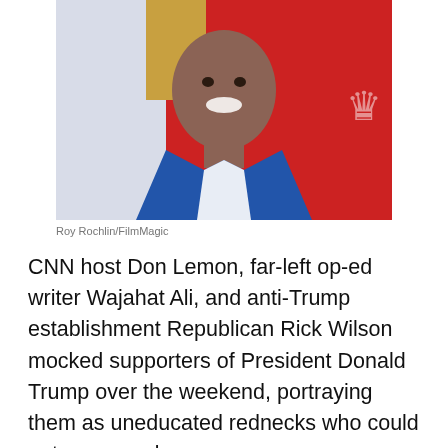[Figure (photo): A smiling man in a blue blazer and white shirt against a red background with a gold decorative element]
Roy Rochlin/FilmMagic
CNN host Don Lemon, far-left op-ed writer Wajahat Ali, and anti-Trump establishment Republican Rick Wilson mocked supporters of President Donald Trump over the weekend, portraying them as uneducated rednecks who could not even read.